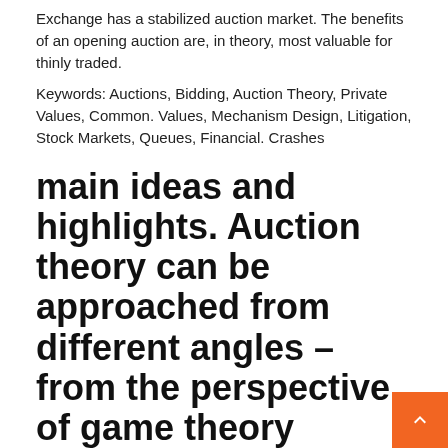Exchange has a stabilized auction market. The benefits of an opening auction are, in theory, most valuable for thinly traded.
Keywords: Auctions, Bidding, Auction Theory, Private Values, Common. Values, Mechanism Design, Litigation, Stock Markets, Queues, Financial. Crashes
main ideas and highlights. Auction theory can be approached from different angles – from the perspective of game theory (auctions are bayesian games of incomplete information) contract or mechanism